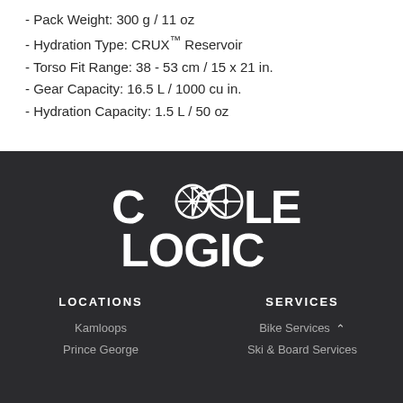- Pack Weight: 300 g / 11 oz
- Hydration Type: CRUX™ Reservoir
- Torso Fit Range: 38 - 53 cm / 15 x 21 in.
- Gear Capacity: 16.5 L / 1000 cu in.
- Hydration Capacity: 1.5 L / 50 oz
[Figure (logo): Cycle Logic bicycle store logo — stylized bicycle wheel forming the letters C in CYCLE, with LOGIC below in white bold text on dark background]
LOCATIONS
Kamloops
Prince George
SERVICES
Bike Services
Ski & Board Services